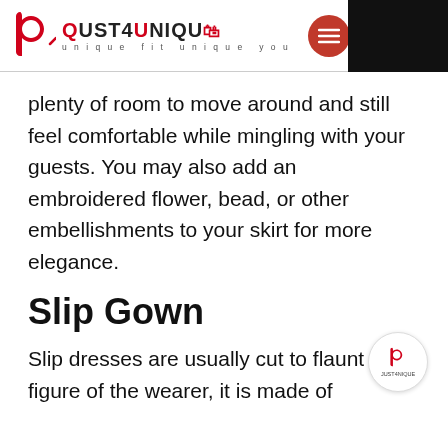[Figure (logo): Just4Unique brand logo with red stylized 'b', brand name JUST4NIQUE, tagline 'unique fit unique you', and red hamburger menu button]
plenty of room to move around and still feel comfortable while mingling with your guests. You may also add an embroidered flower, bead, or other embellishments to your skirt for more elegance.
Slip Gown
Slip dresses are usually cut to flaunt the figure of the wearer, it is made of